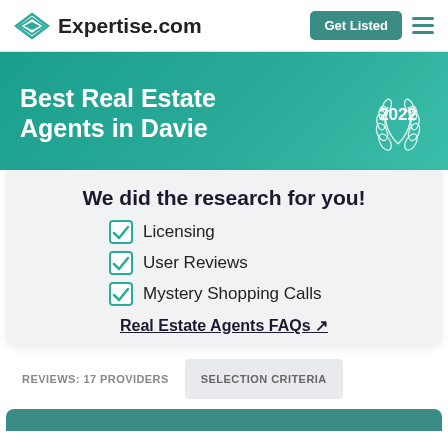Expertise.com — Get Listed
Best Real Estate Agents in Davie — 2022
We did the research for you!
Licensing
User Reviews
Mystery Shopping Calls
Real Estate Agents FAQs ↗
REVIEWS: 17 PROVIDERS
SELECTION CRITERIA